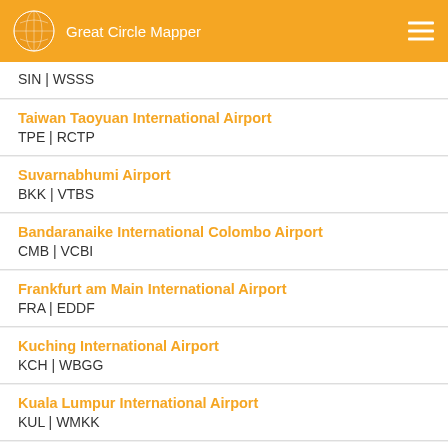Great Circle Mapper
SIN | WSSS
Taiwan Taoyuan International Airport
TPE | RCTP
Suvarnabhumi Airport
BKK | VTBS
Bandaranaike International Colombo Airport
CMB | VCBI
Frankfurt am Main International Airport
FRA | EDDF
Kuching International Airport
KCH | WBGG
Kuala Lumpur International Airport
KUL | WMKK
Kuala Lumpur International Airport